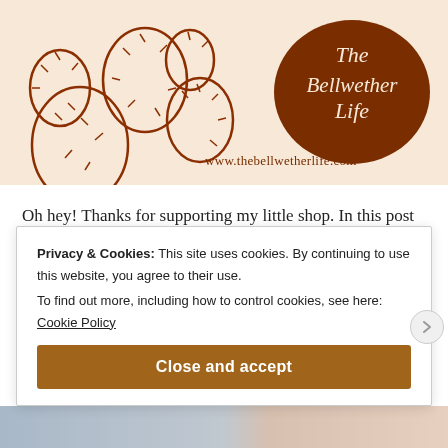[Figure (illustration): Banner image with peach/cream background featuring a hand-drawn cactus illustration on the left, a brown circular blob logo on the right with cursive text 'The Bellwether Life', and website URL 'www.thebellwetherlife.com' in the center-bottom area.]
Oh hey! Thanks for supporting my little shop. In this post I'm going to share some tips for printing your digital downloads as well as places to have your art
Privacy & Cookies: This site uses cookies. By continuing to use this website, you agree to their use.
To find out more, including how to control cookies, see here: Cookie Policy
Close and accept